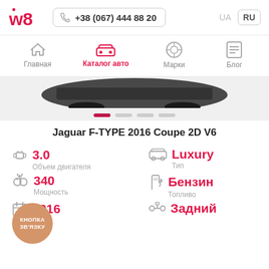w8 | +38 (067) 444 88 20 | UA | RU
Главная | Каталог авто | Марки | Блог
[Figure (photo): Partial view of a dark Jaguar F-TYPE coupe car]
Jaguar F-TYPE 2016 Coupe 2D V6
| Параметр | Значение |
| --- | --- |
| Объем двигателя | 3.0 |
| Тип | Luxury |
| Мощность | 340 |
| Топливо | Бензин |
| Год | 2016 |
| Привод | Задний |
КНОПКА ЗВ'ЯЗКУ